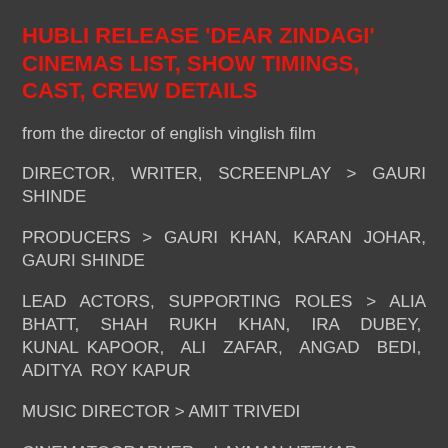HUBLI RELEASE 'DEAR ZINDAGI' CINEMAS LIST, SHOW TIMINGS, CAST, CREW DETAILS
from the director of english vinglish film
DIRECTOR, WRITER, SCREENPLAY > GAURI SHINDE
PRODUCERS > GAURI KHAN, KARAN JOHAR, GAURI SHINDE
LEAD ACTORS, SUPPORTING ROLES > ALIA BHATT, SHAH RUKH KHAN, IRA DUBEY, KUNAL KAPOOR, ALI ZAFAR, ANGAD BEDI, ADITYA ROY KAPUR
MUSIC DIRECTOR > AMIT TRIVEDI
CINEMATOGRAPHER > LAXMAN UTEKAR